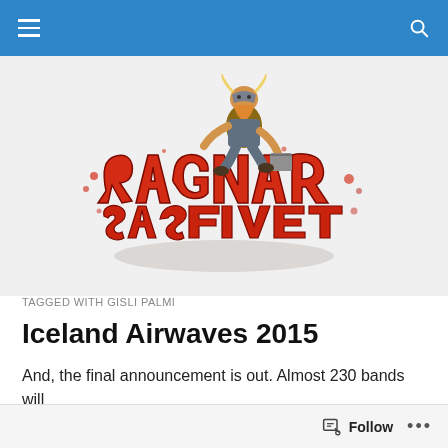Navigation bar with menu and search icons
[Figure (logo): Ragnarok Festival logo: cartoon Viking character running, carrying a bucket, wearing a horned helmet, with large red graffiti-style text reading 'RagnarSasfestival' below]
TAGGED WITH GISLI PALMI
Iceland Airwaves 2015
And, the final announcement is out. Almost 230 bands will
Follow  •••